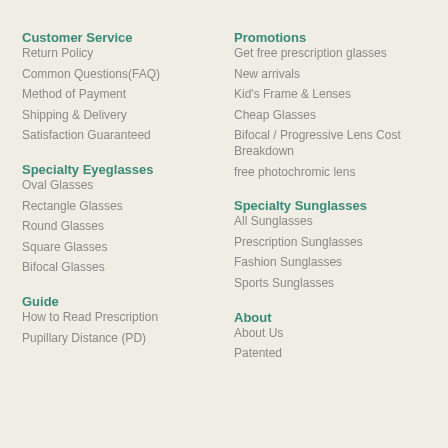Customer Service
Return Policy
Common Questions(FAQ)
Method of Payment
Shipping & Delivery
Satisfaction Guaranteed
Promotions
Get free prescription glasses
New arrivals
Kid's Frame & Lenses
Cheap Glasses
Bifocal / Progressive Lens Cost Breakdown
free photochromic lens
Specialty Eyeglasses
Oval Glasses
Rectangle Glasses
Round Glasses
Square Glasses
Bifocal Glasses
Specialty Sunglasses
All Sunglasses
Prescription Sunglasses
Fashion Sunglasses
Sports Sunglasses
Guide
How to Read Prescription
Pupillary Distance (PD)
About
About Us
Patented